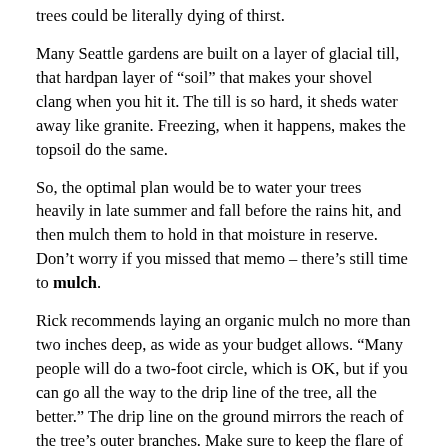trees could be literally dying of thirst.
Many Seattle gardens are built on a layer of glacial till, that hardpan layer of “soil” that makes your shovel clang when you hit it. The till is so hard, it sheds water away like granite. Freezing, when it happens, makes the topsoil do the same.
So, the optimal plan would be to water your trees heavily in late summer and fall before the rains hit, and then mulch them to hold in that moisture in reserve.  Don’t worry if you missed that memo – there’s still time to mulch.
Rick recommends laying an organic mulch no more than two inches deep, as wide as your budget allows. “Many people will do a two-foot circle, which is OK, but if you can go all the way to the drip line of the tree, all the better.”  The drip line on the ground mirrors the reach of the tree’s outer branches.  Make sure to keep the flare of the root crown (at the base of the trunk) open.
People often wonder about their evergreens at this time of year. Some take on bruised purple tones, some turn brown from the inside out, some from the outside in.
Those first two are likely natural, says Rick.  Frosty temps can